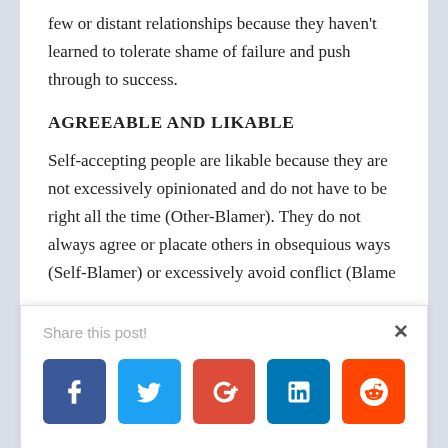few or distant relationships because they haven't learned to tolerate shame of failure and push through to success.
AGREEABLE AND LIKABLE
Self-accepting people are likable because they are not excessively opinionated and do not have to be right all the time (Other-Blamer). They do not always agree or placate others in obsequious ways (Self-Blamer) or excessively avoid conflict (Blame
[Figure (screenshot): Share this post popup with close button (×) and five social media share buttons: Facebook (blue), Twitter (light blue), Google+ (red), LinkedIn (dark blue), Reddit (orange-red)]